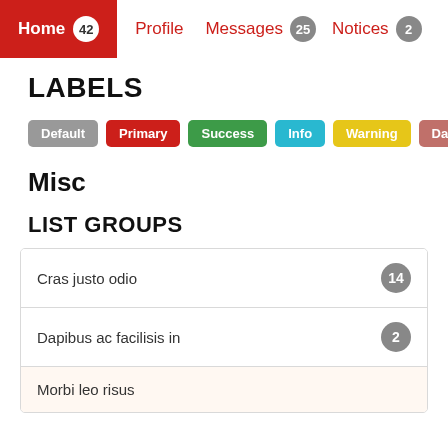Home 42   Profile   Messages 25   Notices 2
LABELS
[Figure (infographic): Row of colored label badges: Default (gray), Primary (red), Success (green), Info (cyan), Warning (yellow), Danger (pink-red)]
Misc
LIST GROUPS
Cras justo odio  14
Dapibus ac facilisis in  2
Morbi leo risus